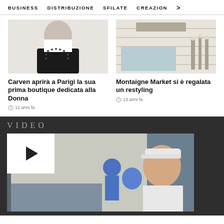BUSINESS   DISTRIBUZIONE   SFILATE   CREAZION  >
[Figure (photo): Fashion photo of a woman wearing a black studded jacket over a white top]
[Figure (photo): Photo of a boutique storefront exterior with display window]
Carven aprirà a Parigi la sua prima boutique dedicata alla Donna
12 anni fa
Montaigne Market si è regalata un restyling
13 anni fa
[Figure (screenshot): VIDEO section with dark background showing a video thumbnail of a young man in a white cap in a store, with a play button overlay on the left]
VIDEO